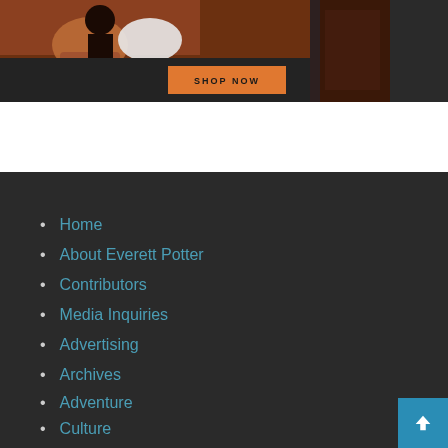[Figure (photo): Banner image showing boxing gloves and equipment on a dark background with a SHOP NOW orange button]
Home
About Everett Potter
Contributors
Media Inquiries
Advertising
Archives
Adventure
Culture